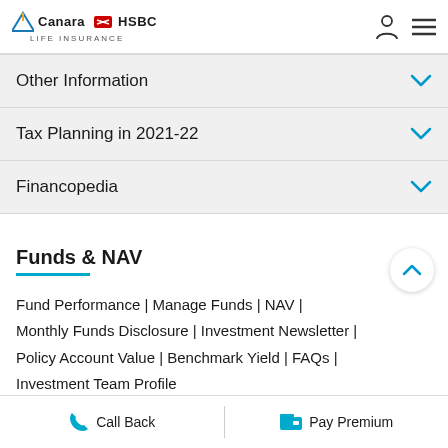[Figure (logo): Canara HSBC Life Insurance logo with triangle icon and HSBC red hexagon]
Other Information
Tax Planning in 2021-22
Financopedia
Funds & NAV
Fund Performance | Manage Funds | NAV | Monthly Funds Disclosure | Investment Newsletter | Policy Account Value | Benchmark Yield | FAQs | Investment Team Profile
Call Back  Pay Premium